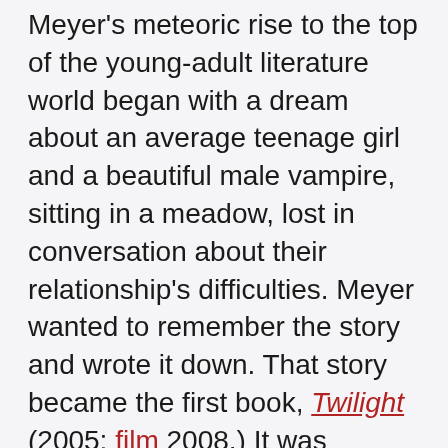Meyer's meteoric rise to the top of the young-adult literature world began with a dream about an average teenage girl and a beautiful male vampire, sitting in a meadow, lost in conversation about their relationship's difficulties. Meyer wanted to remember the story and wrote it down. That story became the first book, Twilight (2005; film 2008.) It was followed by New Moon (2006; film 2009,) Eclipse (2007; film 2010,) and Breaking Dawn (2008; films 2011, 2012.)
Meyer, a Mormon, kept her writing consistent with her faith and eschewed sexual explicitness—this ensured the series' popularity with parents. The series has been